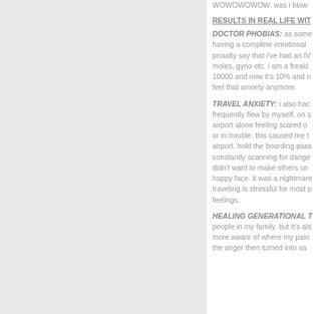WOWOWOWOW. was i blow
RESULTS IN REAL LIFE WIT
DOCTOR PHOBIAS: as some having a complete emotional proudly say that i've had an IV moles, gyno etc. i am a freaki 10000 and now it's 10% and n feel that anxiety anymore.
TRAVEL ANXIETY: i also hac frequently flew by myself, on s airport alone feeling scared o or in trouble. this caused me t airport. hold the boarding pass constantly scanning for dange didn't want to make others un happy face. it was a nightmare traveling is stressful for most p feelings.
HEALING GENERATIONAL T people in my family. but it's als more aware of where my pain the anger then turned into sa